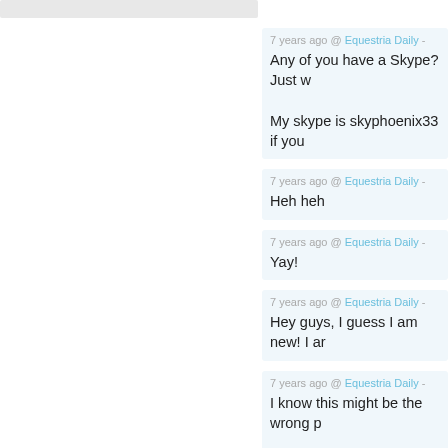7 years ago @ Equestria Daily -
Any of you have a Skype? Just w

My skype is skyphoenix33 if you
7 years ago @ Equestria Daily -
Heh heh
7 years ago @ Equestria Daily -
Yay!
7 years ago @ Equestria Daily -
Hey guys, I guess I am new! I ar
7 years ago @ Equestria Daily -
I know this might be the wrong p

My skype is SkyPhoenix33